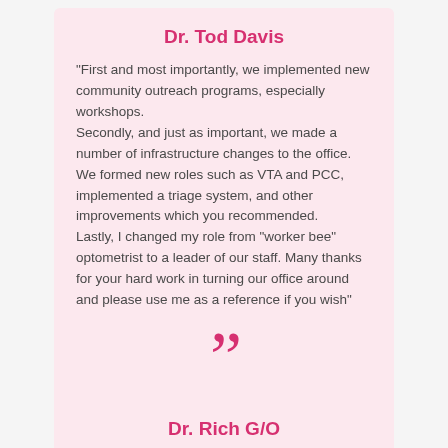Dr. Tod Davis
"First and most importantly, we implemented new community outreach programs, especially workshops.
Secondly, and just as important, we made a number of infrastructure changes to the office.  We formed new roles such as VTA and PCC, implemented a triage system, and other improvements which you recommended.
Lastly, I changed my role from “worker bee” optometrist to a leader of our staff. Many thanks for your hard work in turning our office around and please use me as a reference if you wish"
[Figure (illustration): Large pink closing quotation marks decoration]
Dr. Rich G/O